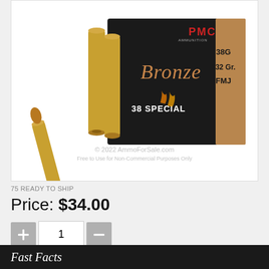[Figure (photo): PMC Bronze 38 Special 132 Gr. FMJ ammunition box with brass cartridges displayed in front. Black box with gold/copper accents showing '38G', '132 Gr.', 'FMJ', '38 SPECIAL' labels. Watermark: © 2022 AmmoForSale.com Free to Use for Non-Commercial Purposes Only]
75 READY TO SHIP
Price: $34.00
Add to Cart